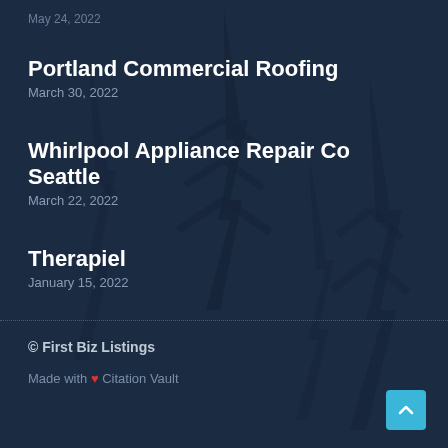May 24, 2022
Portland Commercial Roofing
March 30, 2022
Whirlpool Appliance Repair Co Seattle
March 22, 2022
Therapiel
January 15, 2022
© First Biz Listings
Made with ❤ Citation Vault